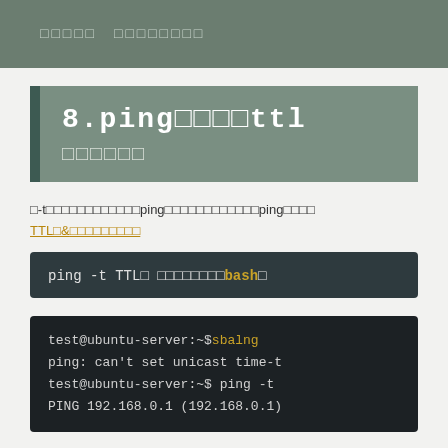ネットワーク マスタリング
8.pingコマンドttl コマンドで
□-tオプションを指定することで、pingコマンドを送信するttl値、pingのTTL値を変更することができます。
[Figure (screenshot): Code block showing: ping -t TTL□ □□□□□□□□bash□]
[Figure (screenshot): Terminal showing: test@ubuntu-server:~$sbalng, ping: can't set unicast time-t, test@ubuntu-server:~$ ping -t, PING 192.168.0.1 (192.168.0.1)]